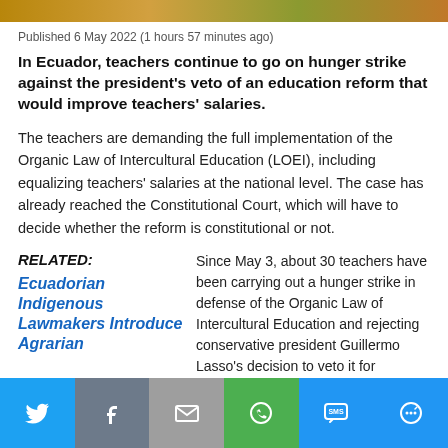[Figure (photo): Colorful image strip at top of article page]
Published 6 May 2022 (1 hours 57 minutes ago)
In Ecuador, teachers continue to go on hunger strike against the president's veto of an education reform that would improve teachers' salaries.
The teachers are demanding the full implementation of the Organic Law of Intercultural Education (LOEI), including equalizing teachers' salaries at the national level. The case has already reached the Constitutional Court, which will have to decide whether the reform is constitutional or not.
RELATED:
Ecuadorian Indigenous Lawmakers Introduce Agrarian
Since May 3, about 30 teachers have been carrying out a hunger strike in defense of the Organic Law of Intercultural Education and rejecting conservative president Guillermo Lasso's decision to veto it for unconstitutionality.
Share bar: Twitter, Facebook, Email, WhatsApp, SMS, More